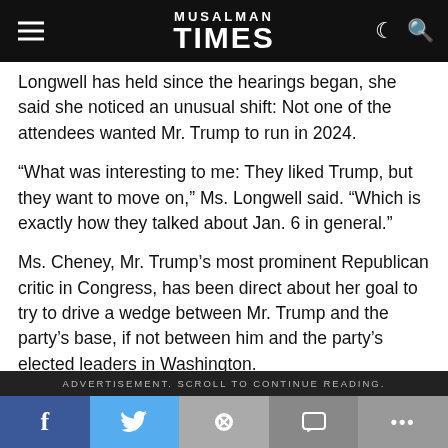MUSALMAN TIMES
Longwell has held since the hearings began, she said she noticed an unusual shift: Not one of the attendees wanted Mr. Trump to run in 2024.
“What was interesting to me: They liked Trump, but they want to move on,” Ms. Longwell said. “Which is exactly how they talked about Jan. 6 in general.”
Ms. Cheney, Mr. Trump’s most prominent Republican critic in Congress, has been direct about her goal to try to drive a wedge between Mr. Trump and the party’s base, if not between him and the party’s elected leaders in Washington.
ADVERTISEMENT. SCROLL TO CONTINUE READING.